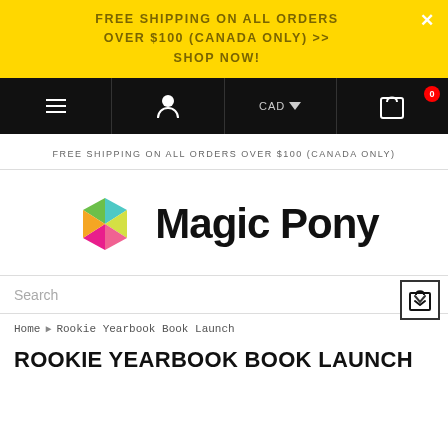FREE SHIPPING ON ALL ORDERS OVER $100 (CANADA ONLY) >> SHOP NOW!
FREE SHIPPING ON ALL ORDERS OVER $100 (CANADA ONLY)
[Figure (logo): Magic Pony logo with colorful hexagonal gem icon and bold 'Magic Pony' wordmark]
Search
Home › Rookie Yearbook Book Launch
ROOKIE YEARBOOK BOOK LAUNCH